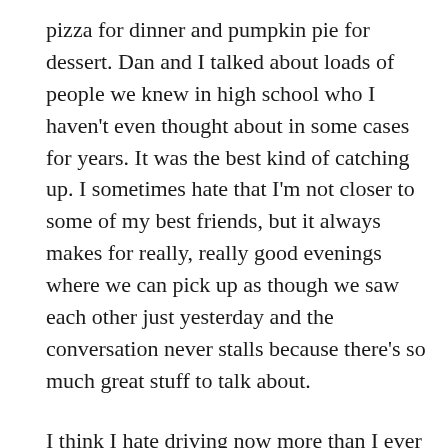pizza for dinner and pumpkin pie for dessert. Dan and I talked about loads of people we knew in high school who I haven't even thought about in some cases for years. It was the best kind of catching up. I sometimes hate that I'm not closer to some of my best friends, but it always makes for really, really good evenings where we can pick up as though we saw each other just yesterday and the conversation never stalls because there's so much great stuff to talk about.
I think I hate driving now more than I ever hated flying, but even this one short stint has proven that, like flying, it's a means to getting somewhere you really want to go, and when there are good friends at the end, it's more than worth the hassle. The next time I drive will be to my friend Lindsay's wedding in May, also in the states, and I have no doubt it'll be